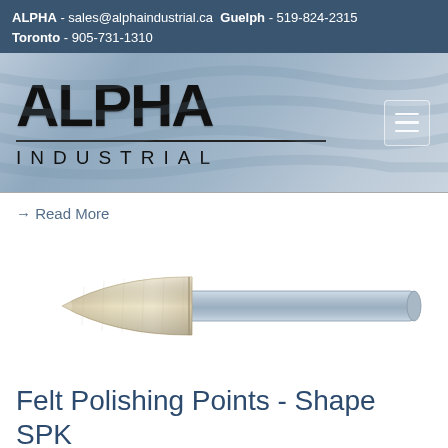ALPHA - sales@alphaindustrial.ca Guelph - 519-824-2315 Toronto - 905-731-1310
[Figure (logo): Alpha Industrial company logo with large bold ALPHA text and INDUSTRIAL in spaced letters below, on a blue-grey gradient banner background with hamburger menu icon on the right]
→ Read More
[Figure (photo): A felt polishing point tool with a bullet/pointed oval cream-colored felt head attached to a cylindrical metal silver shank]
Felt Polishing Points - Shape SPK